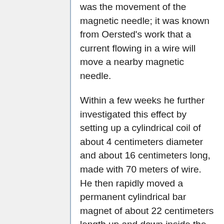was the movement of the magnetic needle; it was known from Oersted's work that a current flowing in a wire will move a nearby magnetic needle.
Within a few weeks he further investigated this effect by setting up a cylindrical coil of about 4 centimeters diameter and about 16 centimeters long, made with 70 meters of wire. He then rapidly moved a permanent cylindrical bar magnet of about 22 centimeters length up and down inside the coil. He then was able to observe an electric current produced in the coil, 'induced' by the moving magnet. The direction of the current produced in the coil when the magnet was moved into the coil was the reverse of that produced when it was then pulled out. This important experiment proved that moving a wire